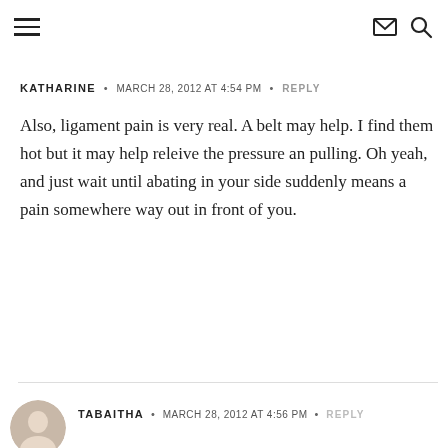Navigation bar with hamburger menu, mail icon, and search icon
KATHARINE • MARCH 28, 2012 AT 4:54 PM • REPLY
Also, ligament pain is very real. A belt may help. I find them hot but it may help releive the pressure an pulling. Oh yeah, and just wait until abating in your side suddenly means a pain somewhere way out in front of you.
TABAITHA • MARCH 28, 2012 AT 4:56 PM • REPLY